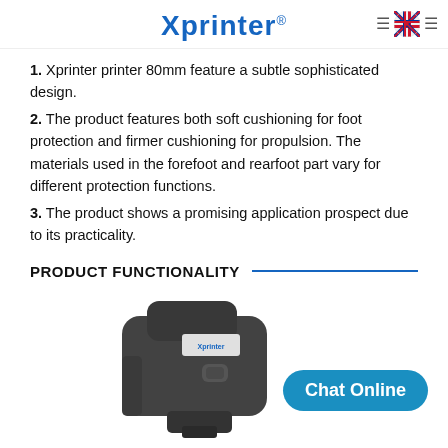Xprinter®
1. Xprinter printer 80mm feature a subtle sophisticated design.
2. The product features both soft cushioning for foot protection and firmer cushioning for propulsion. The materials used in the forefoot and rearfoot part vary for different protection functions.
3. The product shows a promising application prospect due to its practicality.
PRODUCT FUNCTIONALITY
[Figure (photo): Xprinter barcode scanner device shown on a white background, dark grey handheld scanner with Xprinter label visible, partially cropped at bottom of page. A teal 'Chat Online' button overlay is shown at the bottom right.]